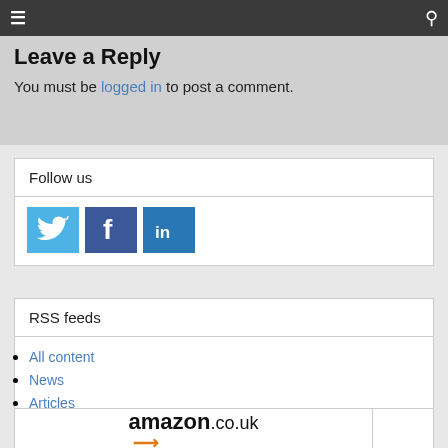≡  🔍
Leave a Reply
You must be logged in to post a comment.
Follow us
[Figure (illustration): Three social media icon buttons: Twitter (light blue bird icon), Facebook (dark blue 'f' icon), LinkedIn (blue 'in' icon)]
RSS feeds
All content
News
Articles
[Figure (logo): amazon.co.uk logo with orange arrow underneath]